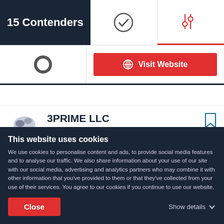15 Contenders
[Figure (screenshot): Navigation tabs with checkmark icon and filter/adjust icon (active, red underline)]
[Figure (logo): Capterra logo (C symbol)]
Visit Website
3PRIME LLC
Web Design, SEO and Online Business Management
This website uses cookies
We use cookies to personalise content and ads, to provide social media features and to analyse our traffic. We also share information about your use of our site with our social media, advertising and analytics partners who may combine it with other information that you've provided to them or that they've collected from your use of their services. You agree to our cookies if you continue to use our website.
Close
Show details